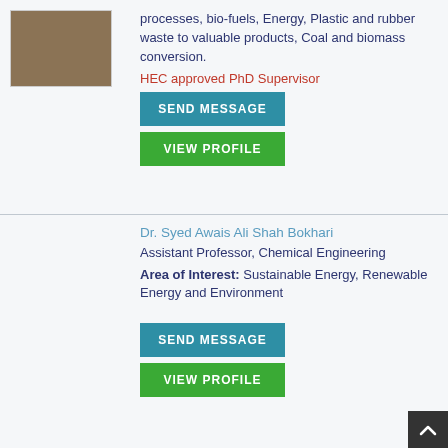processes, bio-fuels, Energy, Plastic and rubber waste to valuable products, Coal and biomass conversion.
HEC approved PhD Supervisor
SEND MESSAGE
VIEW PROFILE
Dr. Syed Awais Ali Shah Bokhari
Assistant Professor, Chemical Engineering
Area of Interest: Sustainable Energy, Renewable Energy and Environment
SEND MESSAGE
VIEW PROFILE